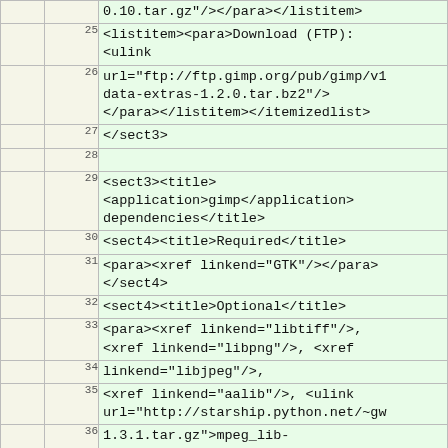|  | line | code |
| --- | --- | --- |
|  |  | 0.10.tar.gz"/></para></listitem> |
|  | 25 | <listitem><para>Download (FTP): <ulink |
|  | 26 | url="ftp://ftp.gimp.org/pub/gimp/v1 data-extras-1.2.0.tar.bz2"/> </para></listitem></itemizedlist> |
|  | 27 | </sect3> |
|  | 28 |  |
|  | 29 | <sect3><title> <application>gimp</application> dependencies</title> |
|  | 30 | <sect4><title>Required</title> |
|  | 31 | <para><xref linkend="GTK"/></para> </sect4> |
|  | 32 | <sect4><title>Optional</title> |
|  | 33 | <para><xref linkend="libtiff"/>, <xref linkend="libpng"/>, <xref |
|  | 34 | linkend="libjpeg"/>, |
|  | 35 | <xref linkend="aalib"/>, <ulink url="http://starship.python.net/~gw |
|  | 36 | 1.3.1.tar.gz">mpeg_lib- 1.3.1</ulink>, |
|  | 37 | <xref linkend="Python"/> and |